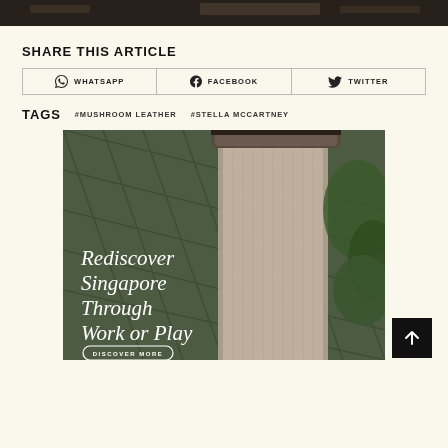[Figure (photo): Top portion of a dark interior architectural photo, partially visible at top of page]
SHARE THIS ARTICLE
WHATSAPP   FACEBOOK   TWITTER
TAGS   #MUSHROOM LEATHER   #STELLA MCCARTNEY
[Figure (photo): Advertisement image showing Jewel Changi Airport waterfall with text 'Rediscover Singapore Through Work or Play' and a 'DISCOVER MORE' button]